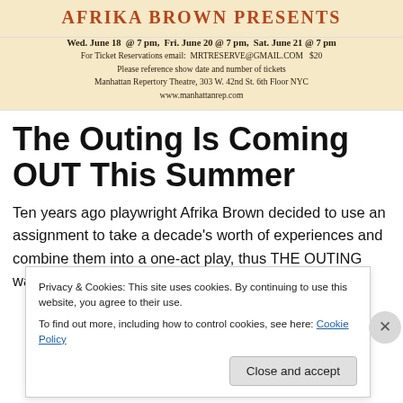[Figure (other): Theatre banner with decorative title text in red/brown on cream background]
Wed. June 18 @ 7 pm,  Fri. June 20 @ 7 pm,  Sat. June 21 @ 7 pm
For Ticket Reservations email:  MRTRESERVE@GMAIL.COM   $20
Please reference show date and number of tickets
Manhattan Repertory Theatre, 303 W. 42nd St. 6th Floor NYC
www.manhattanrep.com
The Outing Is Coming OUT This Summer
Ten years ago playwright Afrika Brown decided to use an assignment to take a decade's worth of experiences and combine them into a one-act play, thus THE OUTING was
Privacy & Cookies: This site uses cookies. By continuing to use this website, you agree to their use.
To find out more, including how to control cookies, see here: Cookie Policy
Close and accept